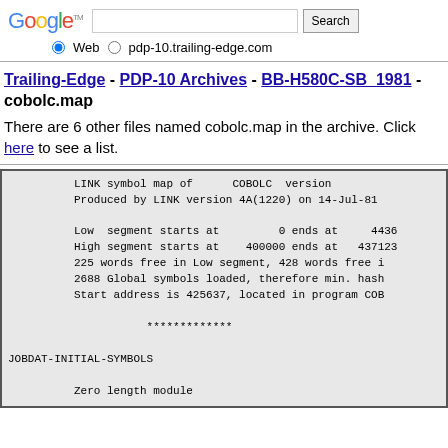[Figure (screenshot): Google search bar with search input field and Search button]
Web   pdp-10.trailing-edge.com
Trailing-Edge - PDP-10 Archives - BB-H580C-SB_1981 - cobolc.map
There are 6 other files named cobolc.map in the archive. Click here to see a list.
LINK symbol map of      COBOLC  version
            Produced by LINK version 4A(1220) on 14-Jul-81

            Low  segment starts at         0 ends at     4436
            High segment starts at    400000 ends at   437123
            225 words free in Low segment, 428 words free i
            2688 Global symbols loaded, therefore min. hash
            Start address is 425637, located in program COB

                       *************

 JOBDAT-INITIAL-SYMBOLS

            Zero length module